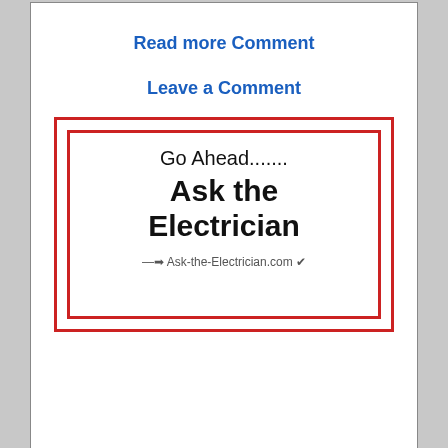Read more Comment
Leave a Comment
[Figure (illustration): Ask the Electrician banner with red border, Go Ahead...... Ask the Electrician, Ask-the-Electrician.com]
» How To Wire It RIGHT! « Wire it with Confidence! Fully Illustrated Instant Download
[Figure (illustration): Home Electrical Wiring book cover with black header bar and photo of person wiring]